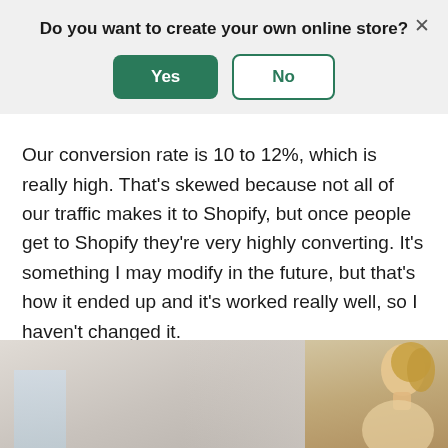Do you want to create your own online store?
Yes
No
Our conversion rate is 10 to 12%, which is really high. That's skewed because not all of our traffic makes it to Shopify, but once people get to Shopify they're very highly converting. It's something I may modify in the future, but that's how it ended up and it's worked really well, so I haven't changed it.
[Figure (photo): Partial photo of a room interior with a window on the left and a person (woman with blonde hair, profile view) on the right, against a warm beige wall background.]